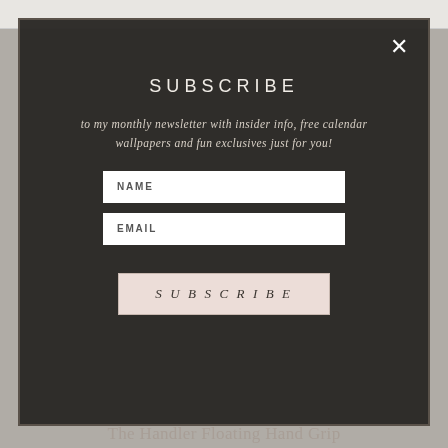[Figure (screenshot): Website background with dark modal overlay showing a newsletter subscription popup. The modal has a dark semi-transparent background with a border, a close X button in the top right, centered heading SUBSCRIBE, italic descriptive subtitle, two input fields for NAME and EMAIL, and a SUBSCRIBE button.]
SUBSCRIBE
to my monthly newsletter with insider info, free calendar wallpapers and fun exclusives just for you!
NAME
EMAIL
SUBSCRIBE
The Handler Floating Hand Grip